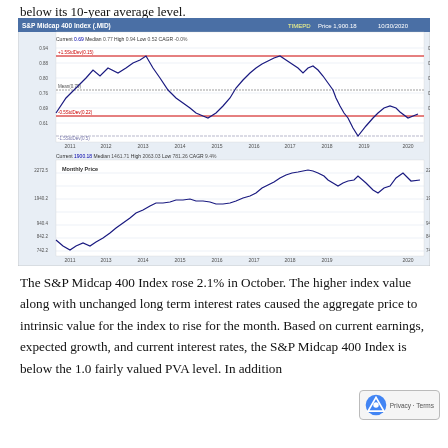below its 10-year average level.
[Figure (continuous-plot): S&P Midcap 400 Index (.MID) dual-panel chart. Top panel: Index Price to Value Ratio from 2011 to 2020. Current 0.69, Median 0.77, High 0.94, Low 0.52, CAGR -0.0%. Red horizontal lines mark +1.5StdDev (0.15) and -0.5StdDev (0.22) and Median (0.79) and -1.5StdDev (0.5). Price 1,900.18, 10/30/2020. Bottom panel: Monthly Price from 2011 to 2020. Current 1900.18, Median 1461.71, High 2063.03, Low 781.26, CAGR 9.4%.]
The S&P Midcap 400 Index rose 2.1% in October. The higher index value along with unchanged long term interest rates caused the aggregate price to intrinsic value for the index to rise for the month. Based on current earnings, expected growth, and current interest rates, the S&P Midcap 400 Index is below the 1.0 fairly valued PVA level. In addition